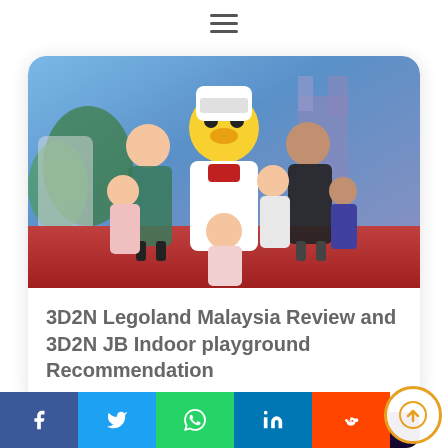[Figure (other): Hamburger/menu icon (three horizontal lines)]
[Figure (photo): A family posing with a LEGO chef mascot character at Legoland Malaysia. The group includes adults and children in front of a colorful castle-themed backdrop with purple and blue lighting.]
3D2N Legoland Malaysia Review and 3D2N JB Indoor playground Recommendation
[Figure (photo): Partial image of children at what appears to be an indoor playground or attraction with dark purple/blue lighting, partially visible at the bottom of the page.]
Share buttons: Facebook, Twitter, WhatsApp, LinkedIn, Reddit